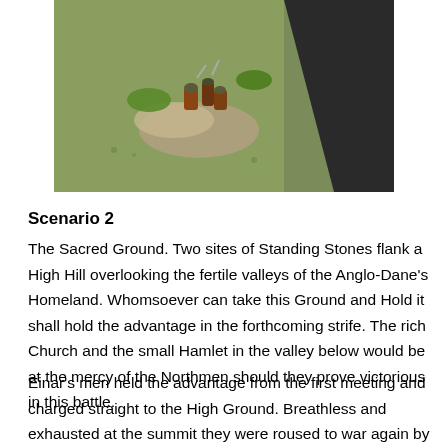[Figure (photo): Aerial or overhead view of wargaming miniatures on a terrain board with grass, gravel, and a dark road or path. Several miniature figures and terrain pieces are visible.]
Scenario 2
The Sacred Ground.  Two sites of Standing Stones flank a High Hill overlooking the fertile valleys of the Anglo-Dane's Homeland.  Whomsoever can take this Ground and Hold it shall hold the advantage in the forthcoming strife.  The rich Church and the small Hamlet in the valley below would be at the mercy of the Northmen should they prove victorious in this battle.
Einar's men held the advantage from the first meeting and charged straight to the High Ground.  Breathless and exhausted at the summit they were roused to war again by Einar's stirring words and boasts (discarding the fatigue